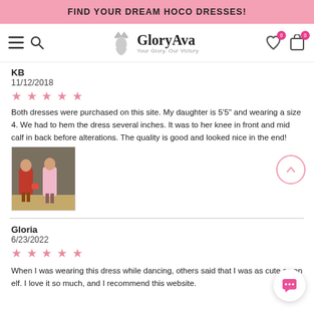FIND YOUR DREAM HOCO DRESSES!
[Figure (logo): GloryAva logo with crown and woman silhouette, tagline: Your Glory. Our Victory]
KB
11/12/2018
★ ★ ★ ★ ★
Both dresses were purchased on this site. My daughter is 5'5" and wearing a size 4. We had to hem the dress several inches. It was to her knee in front and mid calf in back before alterations. The quality is good and looked nice in the end!
[Figure (photo): Photo of two girls in dresses, one in red and one in pink/peach]
Gloria
6/23/2022
★ ★ ★ ★ ★
When I was wearing this dress while dancing, others said that I was as cute as an elf. I love it so much, and I recommend this website.